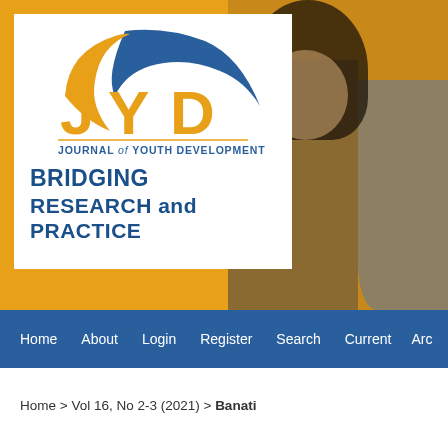[Figure (logo): Journal of Youth Development (JYD) logo with orange arc and blue wave, tagline BRIDGING RESEARCH and PRACTICE on white background, with photo of two young people smiling on yellow/golden background]
Home   About   Login   Register   Search   Current   Arc
Home > Vol 16, No 2-3 (2021) > Banati